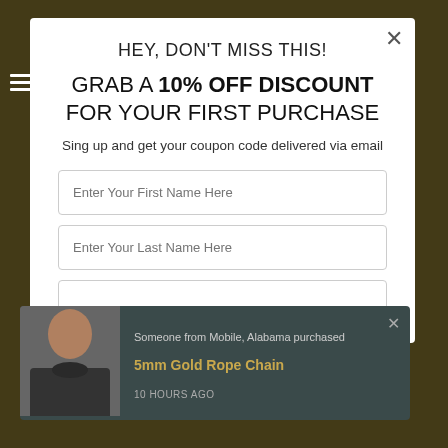HEY, DON'T MISS THIS!
GRAB A 10% OFF DISCOUNT FOR YOUR FIRST PURCHASE
Sing up and get your coupon code delivered via email
Enter Your First Name Here
Enter Your Last Name Here
Someone from Mobile, Alabama purchased
5mm Gold Rope Chain
10 HOURS AGO